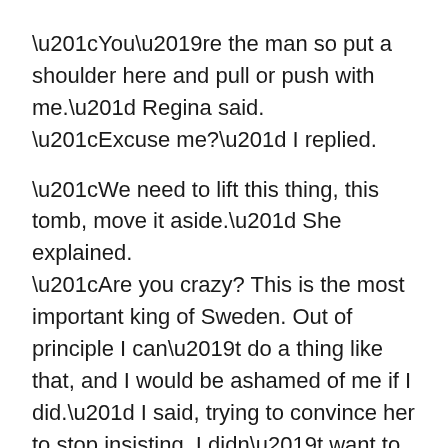“You’re the man so put a shoulder here and pull or push with me.” Regina said.
“Excuse me?” I replied.
“We need to lift this thing, this tomb, move it aside.” She explained.
“Are you crazy? This is the most important king of Sweden. Out of principle I can’t do a thing like that, and I would be ashamed of me if I did.” I said, trying to convince her to stop insisting. I didn’t want to see a corpse that laid there for hundreds of years.
“You’ll be ashamed alright if you don’t do this…” She said, trailing off and then quickly adding “Ashamed you’ve got beaten up by a girl.” I believed her. She was getting angry. Not angry that I didn’t want to lift it. I couldn’t even if I tried, but angry that she found to wrong at absolutely the time.